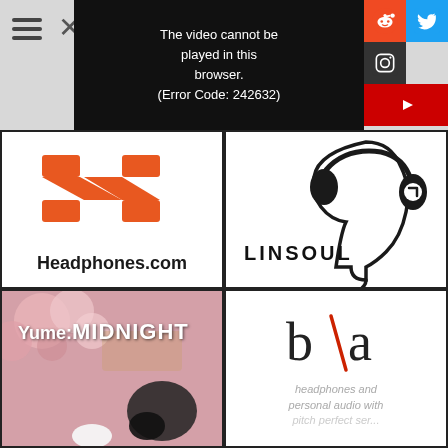[Figure (screenshot): Navigation hamburger menu and close icon on grey background]
[Figure (screenshot): Video player showing error: 'The video cannot be played in this browser. (Error Code: 242632)']
[Figure (screenshot): Social media icons: Reddit (orange), Twitter (blue), Instagram (dark), YouTube (red)]
[Figure (logo): Headphones.com logo - orange stylized H mark with Headphones.com text below]
[Figure (logo): Linsoul logo - silhouette of person wearing headphones with LINSOUL text]
[Figure (photo): Yume:MIDNIGHT headphones product image with pink flowers backdrop]
[Figure (logo): b\a logo with text 'headphones and personal audio with pitch perfect service']